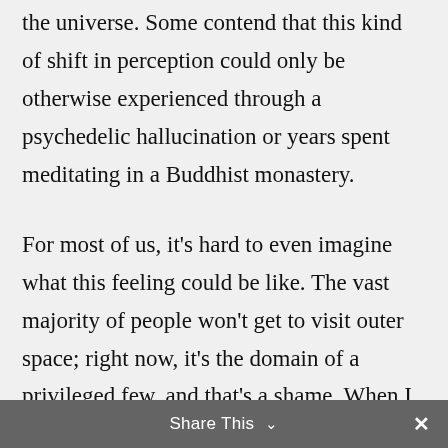the universe. Some contend that this kind of shift in perception could only be otherwise experienced through a psychedelic hallucination or years spent meditating in a Buddhist monastery.
For most of us, it's hard to even imagine what this feeling could be like. The vast majority of people won't get to visit outer space; right now, it's the domain of a privileged few, and that's a shame. When I read that those astronauts had been affected so profoundly by their experience, it made me think that this kind of perspective shift shouldn't be so
Share This ∨  ✕